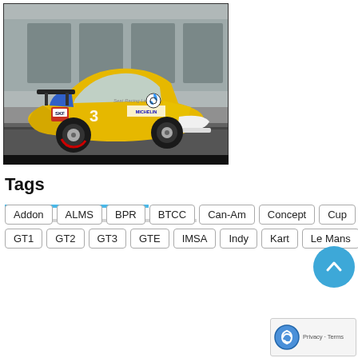[Figure (photo): A yellow BMW M3 racing car with colorful livery including SKF and Michelin sponsor logos, photographed in a simulated racing game environment.]
Tags
Addon
ALMS
BPR
BTCC
Can-Am
Concept
Cup
Dirt
DTM
Endurance
FIA
Formula
Grand-Am
Group C
GT1
GT2
GT3
GTE
IMSA
Indy
Kart
Le Mans
Modding
NASCAR
Patch
Rally
SCCA
SGT
Sou…